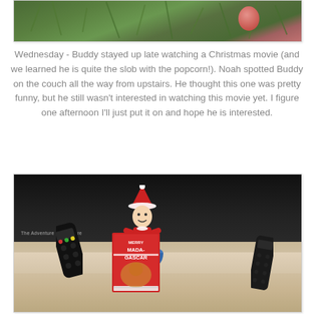[Figure (photo): Partial photo at top showing Christmas tree branches with green needles and a red/pink ornament or object]
Wednesday - Buddy stayed up late watching a Christmas movie (and we learned he is quite the slob with the popcorn!).  Noah spotted Buddy on the couch all the way from upstairs.  He thought this one was pretty funny, but he still wasn't interested in watching this movie yet.  I figure one afternoon I'll just put it on and hope he is interested.
[Figure (photo): Photo of an Elf on the Shelf figurine sitting on a dark leather couch with a bowl of popcorn, a TV remote, and a Merry Madagascar DVD/book. Watermark reads 'The Adventure Starts Here']